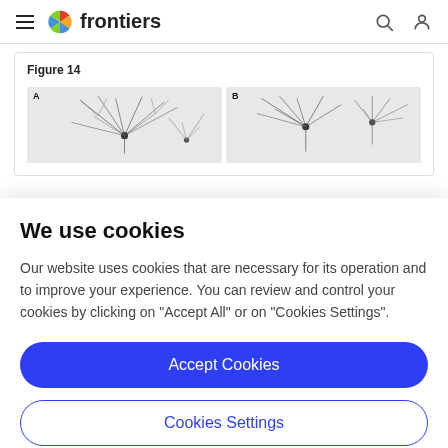frontiers
Figure 14
[Figure (photo): Two panels (A and B) showing microscopy images of neurons with branching dendrites on a light gray background.]
We use cookies
Our website uses cookies that are necessary for its operation and to improve your experience. You can review and control your cookies by clicking on "Accept All" or on "Cookies Settings".
Accept Cookies
Cookies Settings